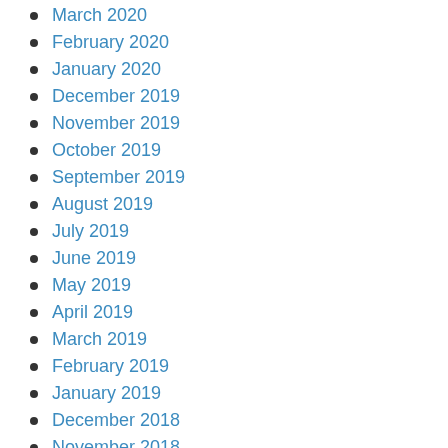March 2020
February 2020
January 2020
December 2019
November 2019
October 2019
September 2019
August 2019
July 2019
June 2019
May 2019
April 2019
March 2019
February 2019
January 2019
December 2018
November 2018